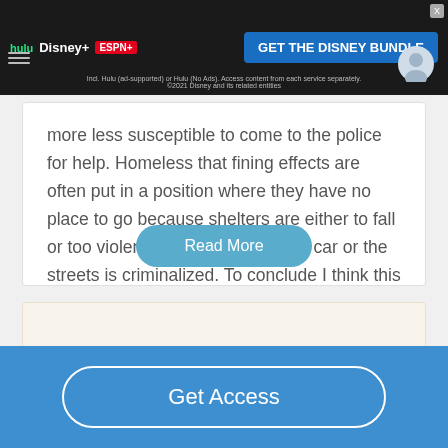[Figure (screenshot): Disney Bundle advertisement banner with Hulu, Disney+, ESPN+ logos and 'GET THE DISNEY BUNDLE' call to action button on dark background]
...more less susceptible to come to the police for help. Homeless that fining effects are often put in a position where they have no place to go because shelters are either to fall or too violent and sleeping in your car or the streets is criminalized. To conclude I think this solution to getting homeless off the street is moving in the opposite direction....
Read More
Get Access